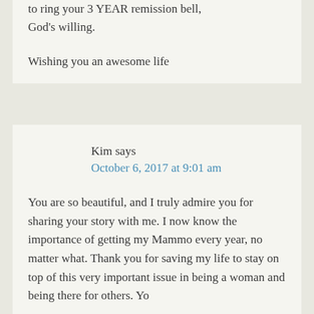to ring your 3 YEAR remission bell, God's willing.

Wishing you an awesome life
Kim says
October 6, 2017 at 9:01 am
You are so beautiful, and I truly admire you for sharing your story with me. I now know the importance of getting my Mammo every year, no matter what. Thank you for saving my life to stay on top of this very important issue in being a woman and being there for others. Yo...